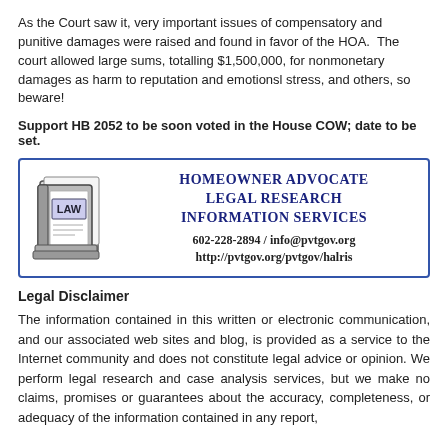As the Court saw it, very important issues of compensatory and punitive damages were raised and found in favor of the HOA.  The court allowed large sums, totalling $1,500,000, for nonmonetary damages as harm to reputation and emotionsl stress, and others, so beware!
Support HB 2052 to be soon voted in the House COW; date to be set.
[Figure (logo): Homeowner Advocate Legal Research Information Services advertisement box with a law book logo image and contact info: 602-228-2894 / info@pvtgov.org, http://pvtgov.org/pvtgov/halris]
Legal Disclaimer
The information contained in this written or electronic communication, and our associated web sites and blog, is provided as a service to the Internet community and does not constitute legal advice or opinion. We perform legal research and case analysis services, but we make no claims, promises or guarantees about the accuracy, completeness, or adequacy of the information contained in any report,